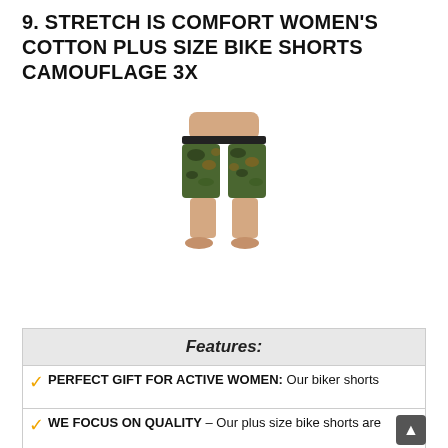9. STRETCH IS COMFORT WOMEN'S COTTON PLUS SIZE BIKE SHORTS CAMOUFLAGE 3X
[Figure (photo): Woman wearing camouflage pattern plus size bike shorts, showing lower body from waist to feet]
Shop On Amazon
| Features: |
| --- |
| ✓ PERFECT GIFT FOR ACTIVE WOMEN: Our biker shorts |
| ✓ WE FOCUS ON QUALITY – Our plus size bike shorts are |
| ✓ ACTUAL AMAZON REVIEWS: "Absolutely love it! Wore them |
| ✓ WHY DO CUSTOMERS LOVE STRETCH IS COMFORT? |